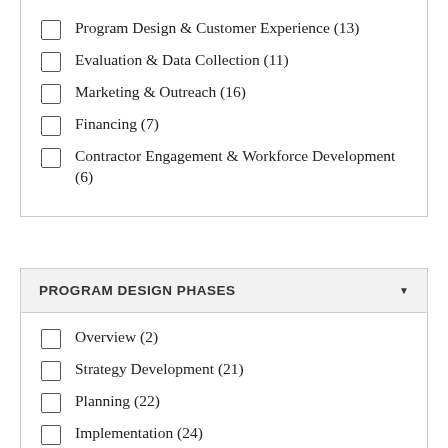Program Design & Customer Experience (13)
Evaluation & Data Collection (11)
Marketing & Outreach (16)
Financing (7)
Contractor Engagement & Workforce Development (6)
PROGRAM DESIGN PHASES
Overview (2)
Strategy Development (21)
Planning (22)
Implementation (24)
Evaluation (18)